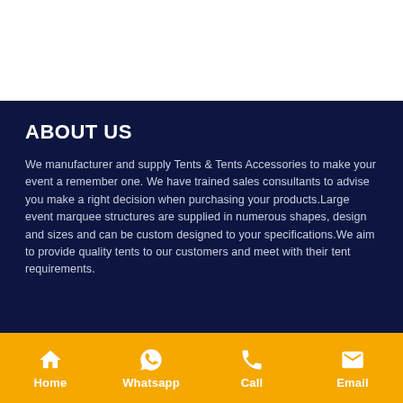ABOUT US
We manufacturer and supply Tents & Tents Accessories to make your event a remember one. We have trained sales consultants to advise you make a right decision when purchasing your products.Large event marquee structures are supplied in numerous shapes, design and sizes and can be custom designed to your specifications.We aim to provide quality tents to our customers and meet with their tent requirements.
Home | Whatsapp | Call | Email